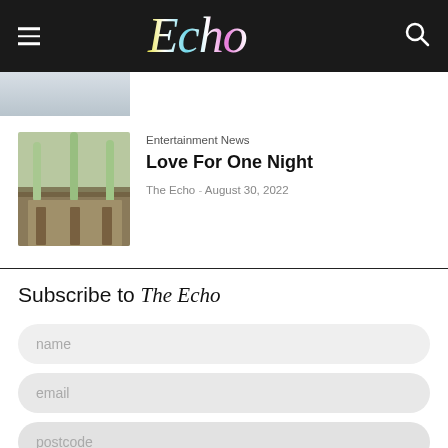Echo
[Figure (photo): Partial view of a photograph — dark clothing visible at bottom edge]
Entertainment News
Love For One Night
The Echo - August 30, 2022
[Figure (photo): Thumbnail photo of a building exterior with tall palm trees]
Subscribe to The Echo
name
email
postcode
Join